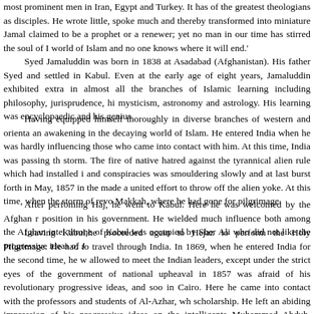most prominent men in Iran, Egypt and Turkey. It has of the greatest theologians as disciples. He wrote little, spoke much and thereby transformed into miniature Jamal claimed to be a prophet or a renewer; yet no man in our time has stirred the soul of I world of Islam and no one knows where it will end.'
Syed Jamaluddin was born in 1838 at Asadabad (Afghanistan). His father Syed and settled in Kabul. Even at the early age of eight years, Jamaluddin exhibited extra in almost all the branches of Islamic learning including philosophy, jurisprudence, hi mysticism, astronomy and astrology. His learning was encyclopaedic and his genius
Having equipped himself thoroughly in diverse branches of western and orienta an awakening in the decaying world of Islam. He entered India when he was hardly influencing those who came into contact with him. At this time, India was passing th storm. The fire of native hatred against the tyrannical alien rule which had installed i and conspiracies was smouldering slowly and at last burst forth in May, 1857 in the made a united effort to throw off the alien yoke. At this time, when the storm of revo Makkah, where he had gone for pilgrimage.
After perfoming Haj, he went to Kabul. Here he was welcomed by the Afghan r position in his government. He wielded much influence both among the Afghan intel throne of Kabul was occupied by Sher Ali who did not like the progressive ideas of J
Leaving Kabul,he proceeded again to Hejaz to perform the Holy Pilgrimage. He had to travel through India. In 1869, when he entered India for the second time, he w allowed to meet the Indian leaders, except under the strict eyes of the government of national upheaval in 1857 was afraid of his revolutionary progressive ideas, and soo in Cairo. Here he came into contact with the professors and students of Al-Azhar, wh scholarship. He left an abiding impression of his progressive ideas on the intelligents Muhammad Abduh. Instead of proceeding to Makkah, he went to Constantinople (Is discourses soon made him extremely popular among the Turkish intelligentsia. Duri Sheikhul Islam, who had become jealous of his popularity raised a storm of objectio gained momentum and the Ottoman government had to order him to leave the capita arrived for the second time in March, 1871.